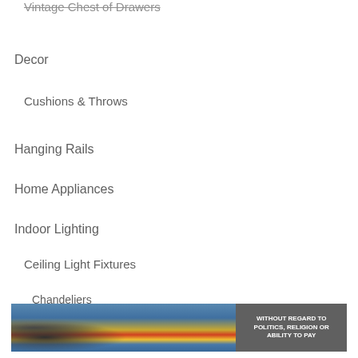Vintage Chest of Drawers
Decor
Cushions & Throws
Hanging Rails
Home Appliances
Indoor Lighting
Ceiling Light Fixtures
Chandeliers
Floor Lamps
Table Lamps
[Figure (photo): Advertisement banner showing a Southwest Airlines cargo plane being loaded with packages, with text 'WITHOUT REGARD TO POLITICS, RELIGION OR ABILITY TO PAY']